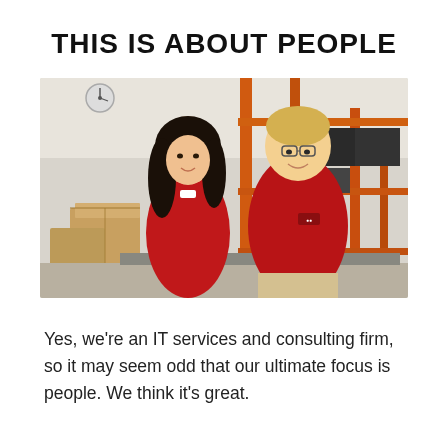THIS IS ABOUT PEOPLE
[Figure (photo): Two employees in red polo shirts standing in a warehouse/IT storage room with cardboard boxes, orange metal shelving racks, and computer equipment in the background. A woman with dark hair is on the left, a man with glasses and blond hair is on the right, both smiling.]
Yes, we're an IT services and consulting firm, so it may seem odd that our ultimate focus is people. We think it's great.